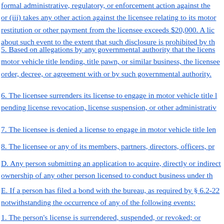formal administrative, regulatory, or enforcement action against the licensee; or (iii) takes any other action against the licensee relating to its motor vehicle title lending business where the total amount of restitution or other payment from the licensee exceeds $20,000. A licensee need not report about such event to the extent that such disclosure is prohibited by the applicable law.
5. Based on allegations by any governmental authority that the licensee has violated any law relating to motor vehicle title lending, title pawn, or similar business, the licensee enters into a consent order, decree, or agreement with or by such governmental authority.
6. The licensee surrenders its license to engage in motor vehicle title lending in any jurisdiction pending license revocation, license suspension, or other administrative action.
7. The licensee is denied a license to engage in motor vehicle title lending in any jurisdiction.
8. The licensee or any of its members, partners, directors, officers, principals, or employees is convicted of a felony.
D. Any person submitting an application to acquire, directly or indirectly, 25 percent or more ownership of any other person licensed to conduct business under this chapter shall comply with the requirements of this section.
E. If a person has filed a bond with the bureau, as required by § 6.2-2216, the bond shall remain in force notwithstanding the occurrence of any of the following events:
1. The person's license is surrendered, suspended, or revoked; or